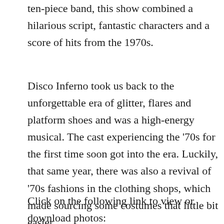ten-piece band, this show combined a hilarious script, fantastic characters and a score of hits from the 1970s.
Disco Inferno took us back to the unforgettable era of glitter, flares and platform shoes and was a high-energy musical. The cast experiencing the ‘70s for the first time soon got into the era. Luckily, that same year, there was also a revival of ‘70s fashions in the clothing shops, which made sourcing some costumes that little bit easier.
Click on the following link to view or download photos: